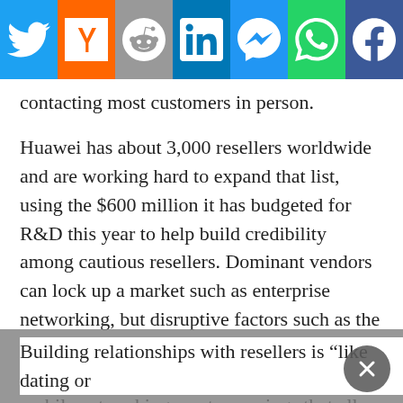[Figure (other): Social media share bar with Twitter, Y Combinator, Reddit, LinkedIn, Messenger, WhatsApp, and Facebook buttons]
contacting most customers in person.
Huawei has about 3,000 resellers worldwide and are working hard to expand that list, using the $600 million it has budgeted for R&D this year to help build credibility among cautious resellers. Dominant vendors can lock up a market such as enterprise networking, but disruptive factors such as the BYOD movement, increasing reliance on cloud-computing platforms, and changes in mobile networking create openings that allow new companies to slip in and establish themselves, according to the WSJ interview with William Xu, Huawei senior executive in charge of the enterprise-network business.
Building relationships with resellers is “like dating or